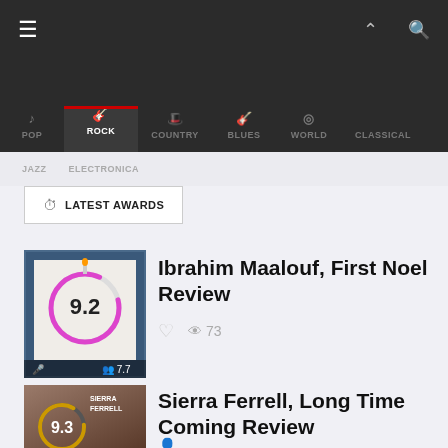Navigation bar with hamburger menu, up arrow, and search icon
POP  ROCK  COUNTRY  BLUES  WORLD  CLASSICAL
JAZZ  ELECTRONICA
LATEST AWARDS
Ibrahim Maalouf, First Noel Review
73 views
Sierra Ferrell, Long Time Coming Review